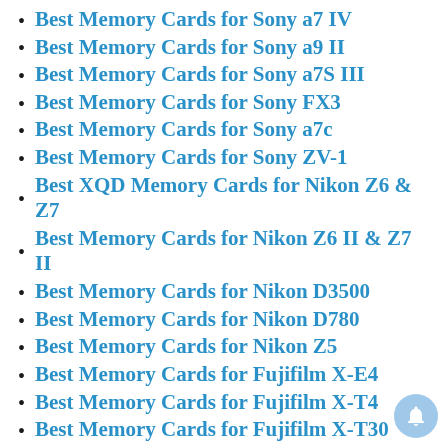Best Memory Cards for Sony a7 IV
Best Memory Cards for Sony a9 II
Best Memory Cards for Sony a7S III
Best Memory Cards for Sony FX3
Best Memory Cards for Sony a7c
Best Memory Cards for Sony ZV-1
Best XQD Memory Cards for Nikon Z6 & Z7
Best Memory Cards for Nikon Z6 II & Z7 II
Best Memory Cards for Nikon D3500
Best Memory Cards for Nikon D780
Best Memory Cards for Nikon Z5
Best Memory Cards for Fujifilm X-E4
Best Memory Cards for Fujifilm X-T4
Best Memory Cards for Fujifilm X-T30
Best Memory Cards for Fujifilm X-A7
Best Memory Cards for Fujifilm GFX100s